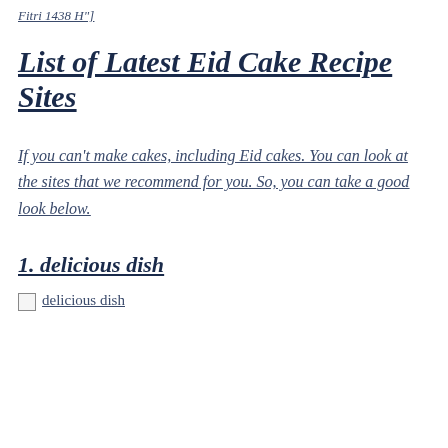Fitri 1438 H"]
List of Latest Eid Cake Recipe Sites
If you can’t make cakes, including Eid cakes. You can look at the sites that we recommend for you. So, you can take a good look below.
1. delicious dish
[Figure (photo): Broken image placeholder with alt text 'delicious dish']